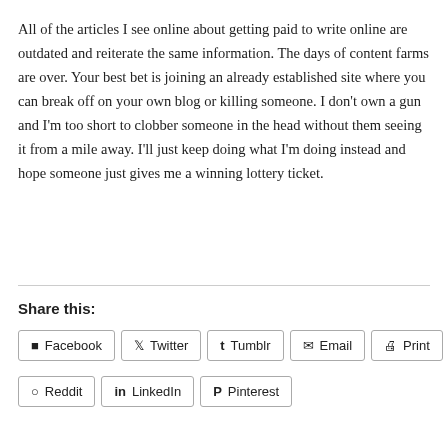All of the articles I see online about getting paid to write online are outdated and reiterate the same information. The days of content farms are over. Your best bet is joining an already established site where you can break off on your own blog or killing someone. I don't own a gun and I'm too short to clobber someone in the head without them seeing it from a mile away. I'll just keep doing what I'm doing instead and hope someone just gives me a winning lottery ticket.
Share this:
Facebook
Twitter
Tumblr
Email
Print
Reddit
LinkedIn
Pinterest